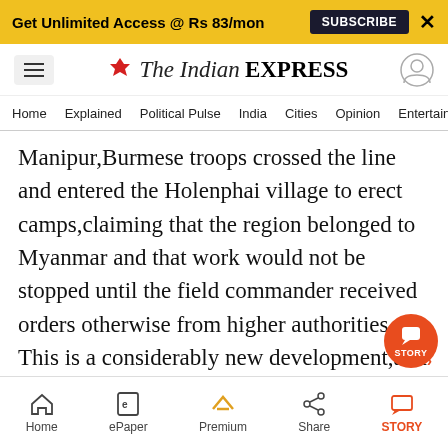Get Unlimited Access @ Rs 83/mon  SUBSCRIBE  X
[Figure (logo): The Indian Express logo with hamburger menu and user icon]
Home  Explained  Political Pulse  India  Cities  Opinion  Entertainment
Manipur,Burmese troops crossed the line and entered the Holenphai village to erect camps,claiming that the region belonged to Myanmar and that work would not be stopped until the field commander received orders otherwise from higher authorities. This is a considerably new development,and authorities from the Indo-Myanmar Border Fencing Committee (IMBFC) set up by the Indian Government said on a visit that certain sect
Home  ePaper  Premium  Share  STORY